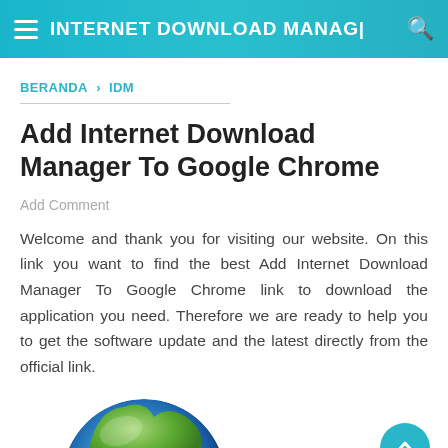INTERNET DOWNLOAD MANAGER
BERANDA › IDM
Add Internet Download Manager To Google Chrome
Add Comment
Welcome and thank you for visiting our website. On this link you want to find the best Add Internet Download Manager To Google Chrome link to download the application you need. Therefore we are ready to help you to get the software update and the latest directly from the official link.
[Figure (illustration): Partial globe/earth illustration at bottom center of page, with a scroll-to-top circular button at bottom right]